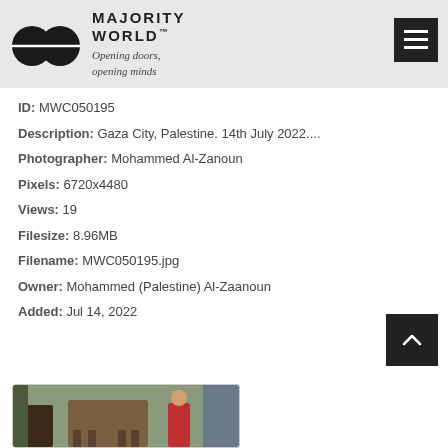[Figure (logo): Majority World logo with two overlapping circles and text 'MAJORITY WORLD™ Opening doors, opening minds']
ID: MWC050195
Description: Gaza City, Palestine. 14th July 2022....
Photographer: Mohammed Al-Zanoun
Pixels: 6720x4480
Views: 19
Filesize: 8.96MB
Filename: MWC050195.jpg
Owner: Mohammed (Palestine) Al-Zaanoun
Added: Jul 14, 2022
[Figure (photo): Thumbnail photo showing children and a horse in an outdoor scene, Gaza City]